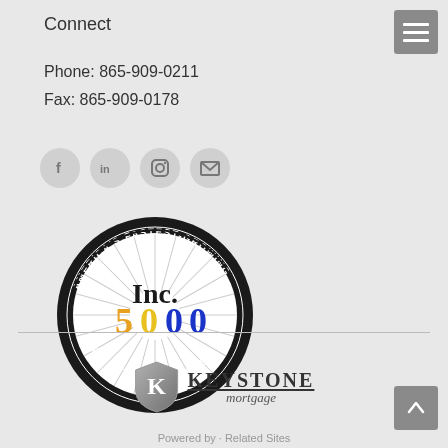Connect
Phone: 865-909-0211
Fax: 865-909-0178
[Figure (illustration): Social media icons row: Facebook (f), LinkedIn (in), Instagram (camera), Email (envelope) — each in a light gray circle]
[Figure (logo): Inc. 5000 America's Fastest-Growing Private Companies badge — circular black border with radiating lines, 'Inc.' in black serif, '5000' in orange/yellow and blue, text around the circle reading AMERICA'S FASTEST-GROWING and PRIVATE COMPANIES]
[Figure (logo): Keystone Mortgage logo — gray shield with letter K on left, KEYSTONE in dark serif capitals with 'mortgage' in smaller italic below, underlined]
Powered by · Related Sites